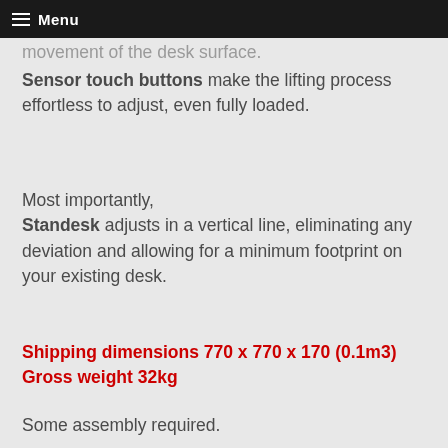Menu
Sensor touch buttons make the lifting process effortless to adjust, even fully loaded.
Most importantly, Standesk adjusts in a vertical line, eliminating any deviation and allowing for a minimum footprint on your existing desk.
Shipping dimensions 770 x 770 x 170  (0.1m3)  Gross weight 32kg
Some assembly required.